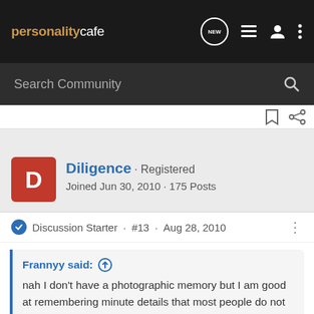personalitycafe — Search Community
Discussion Starter · #13 · Aug 28, 2010
Diligence · Registered
Joined Jun 30, 2010 · 175 Posts
Frannyy said: nah I don't have a photographic memory but I am good at remembering minute details that most people do not remember or even notice- I attribute this to Si.
Yep, IMO this summarizes me as well. I don't remember